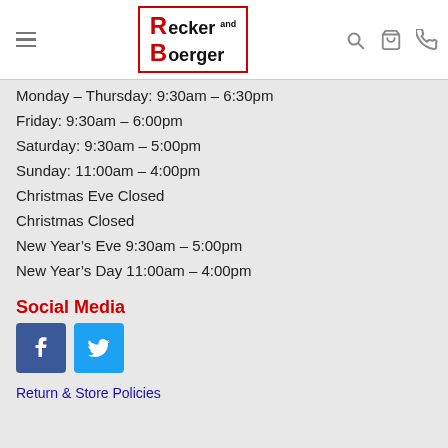[Figure (logo): Recker and Boerger logo with red R and B letters in a red-bordered box]
Monday – Thursday: 9:30am – 6:30pm
Friday: 9:30am – 6:00pm
Saturday: 9:30am – 5:00pm
Sunday: 11:00am – 4:00pm
Christmas Eve Closed
Christmas Closed
New Year's Eve 9:30am – 5:00pm
New Year's Day 11:00am – 4:00pm
Social Media
[Figure (logo): Facebook and Twitter social media icon buttons]
Return & Store Policies